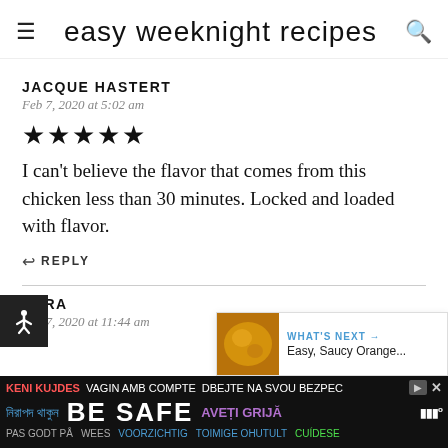easy weeknight recipes
JACQUE HASTERT
Feb 7, 2020 at 5:02 am
[Figure (other): 5 filled star rating icons]
I can't believe the flavor that comes from this chicken less than 30 minutes. Locked and loaded with flavor.
REPLY
LORA
Feb 7, 2020 at 11:44 am
KENI KUJDES VAGIN AMB COMPTE DBEJTE NA SVOU BEZPEC | নিরাপদ থাকুন BE SAFE AVEȚI GRIJĂ | PAS GODT PÅ WEES VOORZICHTIG TOIMIGE OHUTULT CUÍDESE